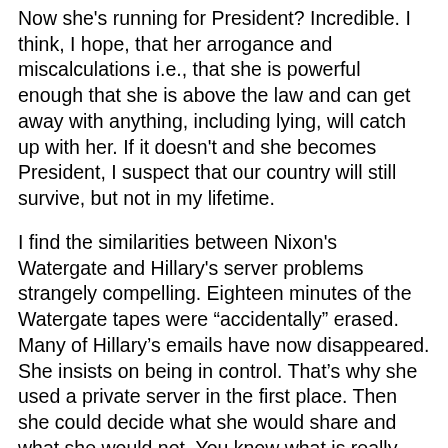Now she's running for President? Incredible. I think, I hope, that her arrogance and miscalculations i.e., that she is powerful enough that she is above the law and can get away with anything, including lying, will catch up with her. If it doesn't and she becomes President, I suspect that our country will still survive, but not in my lifetime.
I find the similarities between Nixon's Watergate and Hillary's server problems strangely compelling. Eighteen minutes of the Watergate tapes were "accidentally" erased. Many of Hillary's emails have now disappeared. She insists on being in control. That's why she used a private server in the first place. Then she could decide what she would share and what she would not. You know what is really scary? That the Secretary of State of the United States never sent or received any classified documents! How can that be? How stupid does she think the American public is? Now, after saying she never sent or received any classified documents, she has changed the wording to say she has